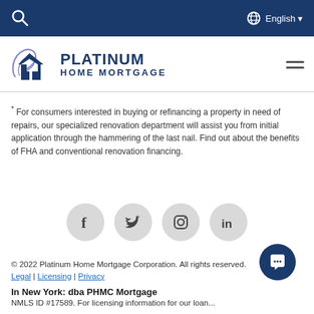Search | English
[Figure (logo): Platinum Home Mortgage logo — stylized PM house symbol with cursive embellishment and text PLATINUM HOME MORTGAGE in navy blue]
* For consumers interested in buying or refinancing a property in need of repairs, our specialized renovation department will assist you from initial application through the hammering of the last nail. Find out about the benefits of FHA and conventional renovation financing.
[Figure (infographic): Row of four circular social media icons: Facebook, Twitter, Instagram, LinkedIn on light grey circles]
© 2022 Platinum Home Mortgage Corporation. All rights reserved. Legal | Licensing | Privacy
In New York: dba PHMC Mortgage
NMLS ID #17589. For licensing information for our loan...